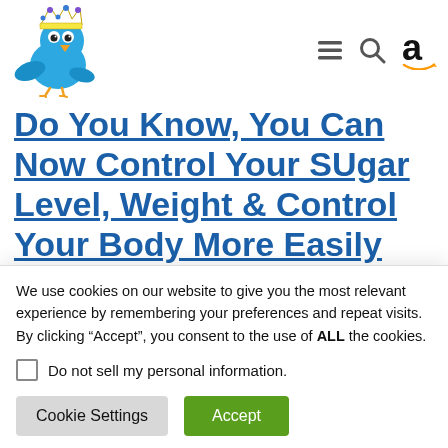[Figure (logo): Blue cartoon bird with crown logo, website header]
Navigation icons: hamburger menu, search, Amazon logo
Do You Know, You Can Now Control Your SUgar Level, Weight & Control Your Body More Easily Than Before, All in Your Budget
We use cookies on our website to give you the most relevant experience by remembering your preferences and repeat visits. By clicking “Accept”, you consent to the use of ALL the cookies.
Do not sell my personal information.
Cookie Settings  Accept